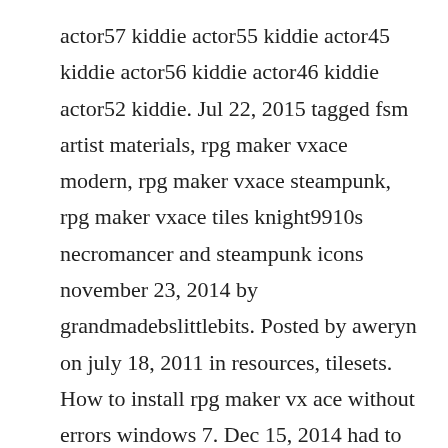actor57 kiddie actor55 kiddie actor45 kiddie actor56 kiddie actor46 kiddie actor52 kiddie. Jul 22, 2015 tagged fsm artist materials, rpg maker vxace modern, rpg maker vxace steampunk, rpg maker vxace tiles knight9910s necromancer and steampunk icons november 23, 2014 by grandmadebslittlebits. Posted by aweryn on july 18, 2011 in resources, tilesets. How to install rpg maker vx ace without errors windows 7. Dec 15, 2014 had to switch to dropbox faster then mediafire, more simple rpg